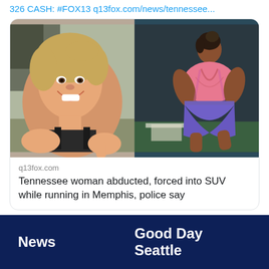326 CASH: #FOX13 q13fox.com/news/tennessee...
[Figure (screenshot): Side-by-side photos: left shows a smiling blonde woman outdoors; right shows a woman from behind wearing a pink top and purple shorts, captured on security camera footage.]
q13fox.com
Tennessee woman abducted, forced into SUV while running in Memphis, police say
News
Good Day Seattle